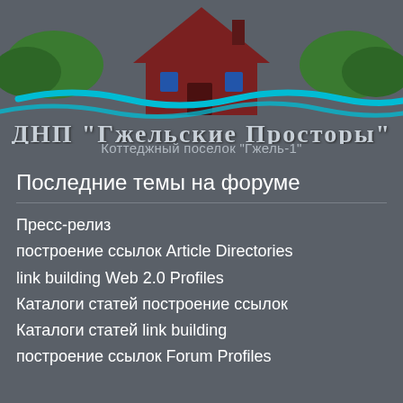[Figure (logo): Logo of ДНП Гжельские Просторы featuring a house with green trees and blue wave, with stylized Cyrillic text]
ДНП "Гжельские Просторы"
Коттеджный поселок "Гжель-1"
Последние темы на форуме
Пресс-релиз
построение ссылок Article Directories
link building Web 2.0 Profiles
Каталоги статей построение ссылок
Каталоги статей link building
построение ссылок Forum Profiles